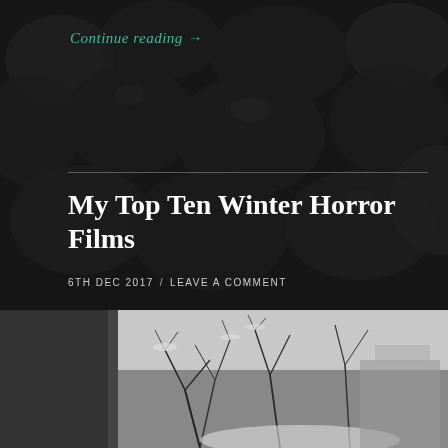Continue reading →
My Top Ten Winter Horror Films
6TH DEC 2017 / LEAVE A COMMENT
[Figure (photo): Black and white photograph of snow-covered bare tree branches in a winter forest scene]